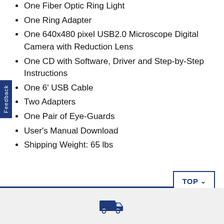One Fiber Optic Ring Light
One Ring Adapter
One 640x480 pixel USB2.0 Microscope Digital Camera with Reduction Lens
One CD with Software, Driver and Step-by-Step Instructions
One 6' USB Cable
Two Adapters
One Pair of Eye-Guards
User's Manual Download
Shipping Weight: 65 lbs
ADDITIONAL INFO
REVIEWS
[Figure (illustration): Delivery truck icon in navy blue]